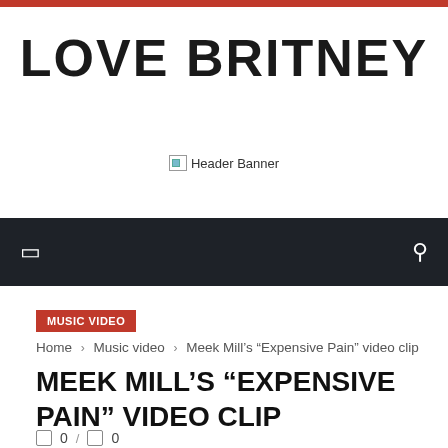LOVE BRITNEY
[Figure (other): Broken image placeholder labeled 'Header Banner']
MUSIC VIDEO
Home › Music video › Meek Mill's “Expensive Pain” video clip
MEEK MILL’S “EXPENSIVE PAIN” VIDEO CLIP
0 / 0